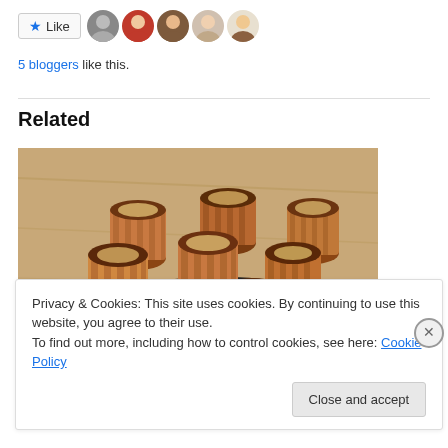[Figure (other): Like button with star icon and row of 5 blogger avatar photos]
5 bloggers like this.
Related
[Figure (photo): Photo of golden-brown canelé pastries arranged on a round wire cooling rack on a wooden surface]
Privacy & Cookies: This site uses cookies. By continuing to use this website, you agree to their use.
To find out more, including how to control cookies, see here: Cookie Policy
Close and accept